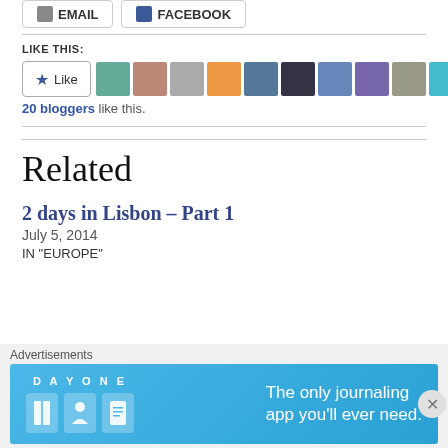[Figure (screenshot): Email and Facebook share buttons at top]
LIKE THIS:
[Figure (screenshot): Like button with star icon, followed by 10 blogger avatar thumbnails]
20 bloggers like this.
Related
2 days in Lisbon – Part 1
July 5, 2014
IN "EUROPE"
[Figure (screenshot): Day One journaling app advertisement banner: The only journaling app you'll ever need.]
Advertisements